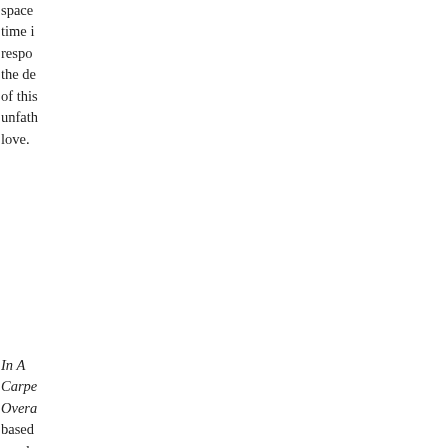space time i respo the de of this unfath love.
In A Carpe Overa based revela Eman Swed the er 18th c scient turned theolc and re the sk giant a bosor